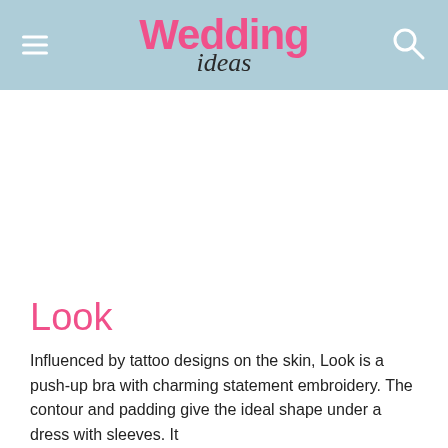Wedding ideas
Look
Influenced by tattoo designs on the skin, Look is a push-up bra with charming statement embroidery. The contour and padding give the ideal shape under a dress with sleeves. It